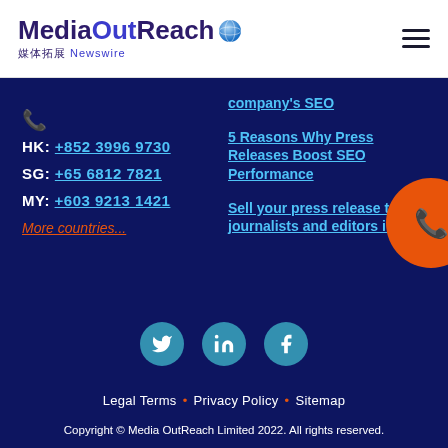MediaOutReach 媒体拓展 Newswire — site header with logo and hamburger menu
HK: +852 3996 9730
SG: +65 6812 7821
MY: +603 9213 1421
More countries...
company's SEO
5 Reasons Why Press Releases Boost SEO Performance
Sell your press release to journalists and editors in secs
Legal Terms • Privacy Policy • Sitemap
Copyright © Media OutReach Limited 2022. All rights reserved.